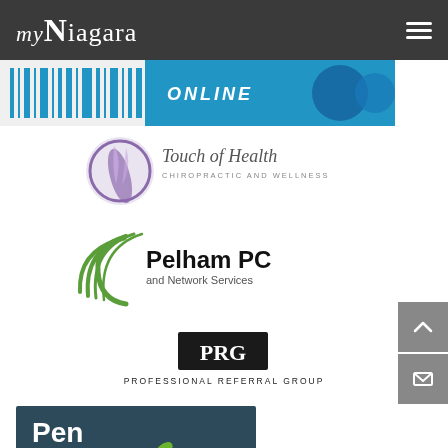[Figure (logo): myNiagara website header with logo and hamburger menu on dark grey background]
[Figure (logo): myNiagara ONLINE blue banner logo with barcode-like graphic]
[Figure (logo): Touch of Health Chiropractic and Wellness logo with purple circle and feather graphic]
[Figure (logo): Pelham PC and Network Services logo with green swoosh arcs]
[Figure (logo): PRG Professional Referral Group logo, black box with white PRG letters and text below]
[Figure (logo): Pen Financial Credit Union logo with dark teal background and white/green text]